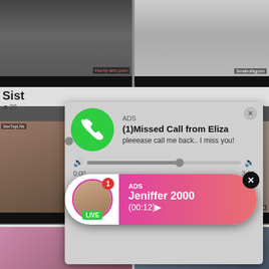[Figure (screenshot): Top-left video thumbnail showing a person, with watermark 'Horny ami porn']
[Figure (screenshot): Top-right video thumbnail showing two people in a kitchen, with watermark 'SmalltosBigporn']
Sist
28
[Figure (screenshot): Middle-left video thumbnail with 'SexTopLNs' label]
[Figure (screenshot): Middle-right video thumbnail with 'CKE18.com' label]
[Figure (infographic): Phone call missed call ad popup: ADS, (1)Missed Call from Eliza, pleeease call me back.. I miss you!, with audio player showing 0:00 to 3:23, playback controls]
Slee
125
[Figure (infographic): Live notification popup: ADS, Jeniffer 2000, (00:12), LIVE badge, avatar with pink border]
[Figure (screenshot): Bottom strip left thumbnail]
[Figure (screenshot): Bottom strip right thumbnail]